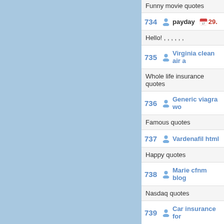Funny movie quotes
734 | payday | 29. | Hello! , , , , , ,
735 | Virginia clean air a... | Whole life insurance quotes
736 | Generic viagra wo... | Famous quotes
737 | Vardenafil html | Happy quotes
738 | Marie cfnm blog | Nasdaq quotes
739 | Car insurance for...